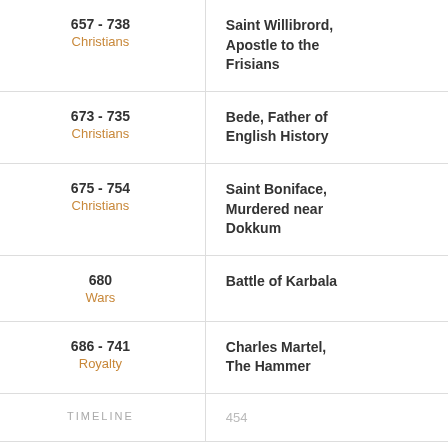| Date / Category | Entry |
| --- | --- |
| 657 - 738
Christians | Saint Willibrord, Apostle to the Frisians |
| 673 - 735
Christians | Bede, Father of English History |
| 675 - 754
Christians | Saint Boniface, Murdered near Dokkum |
| 680
Wars | Battle of Karbala |
| 686 - 741
Royalty | Charles Martel, The Hammer |
| TIMELINE | 454 |